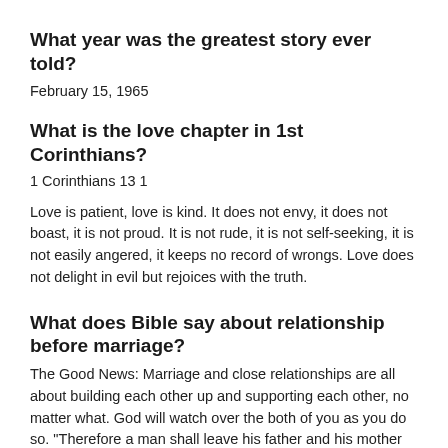What year was the greatest story ever told?
February 15, 1965
What is the love chapter in 1st Corinthians?
1 Corinthians 13 1
Love is patient, love is kind. It does not envy, it does not boast, it is not proud. It is not rude, it is not self-seeking, it is not easily angered, it keeps no record of wrongs. Love does not delight in evil but rejoices with the truth.
What does Bible say about relationship before marriage?
The Good News: Marriage and close relationships are all about building each other up and supporting each other, no matter what. God will watch over the both of you as you do so. "Therefore a man shall leave his father and his mother